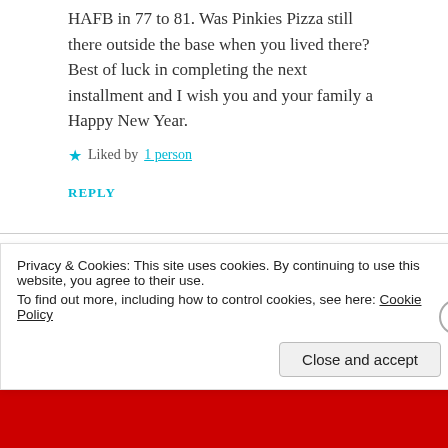HAFB in 77 to 81. Was Pinkies Pizza still there outside the base when you lived there? Best of luck in completing the next installment and I wish you and your family a Happy New Year.
★ Liked by 1 person
REPLY
dvemac2013
Privacy & Cookies: This site uses cookies. By continuing to use this website, you agree to their use. To find out more, including how to control cookies, see here: Cookie Policy
Close and accept